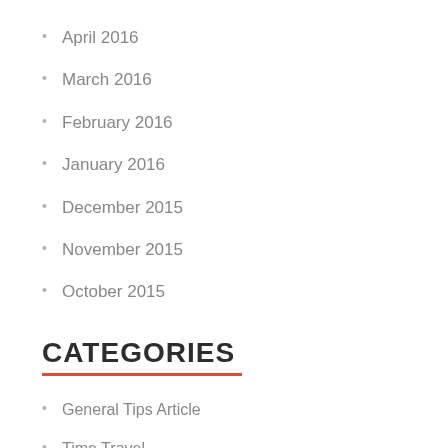April 2016
March 2016
February 2016
January 2016
December 2015
November 2015
October 2015
CATEGORIES
General Tips Article
Time Travel
Travel Article